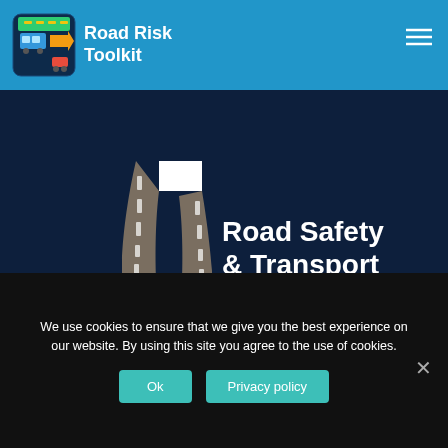Road Risk Toolkit
[Figure (logo): Road Safety & Transport Consultants logo — stylized road/highway shape with dashed center lines forming an abstract arrow/letter shape in dark gray and white, with text 'Road Safety & Transport Consultants' in white on dark navy background]
We use cookies to ensure that we give you the best experience on our website. By using this site you agree to the use of cookies.